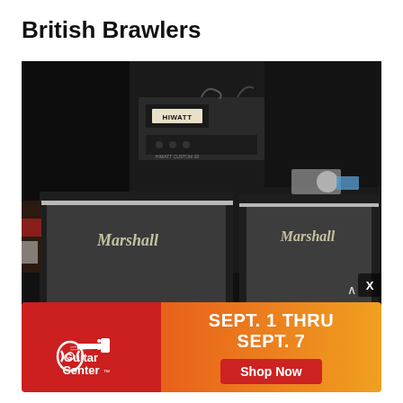British Brawlers
[Figure (photo): Studio photo showing Hiwatt amp head sitting on a Marshall speaker cabinet on the left, and a Marshall 2x12 speaker cabinet on the right, all on a reflective black surface in a dark studio environment.]
[Figure (logo): Guitar Center advertisement banner with Guitar Center logo on red background on the left, and orange gradient background with text 'SEPT. 1 THRU SEPT. 7' and a red 'Shop Now' button on the right.]